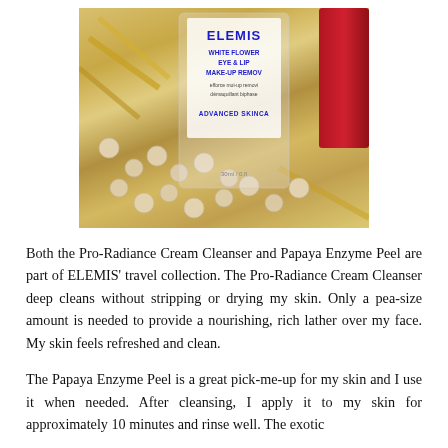[Figure (photo): Photo of an ELEMIS White Flower Eye & Lip Make-up Remover product bottle with Advanced Skincare label, surrounded by pearls/beads and gold decorative elements, with a red bottle partially visible on the right.]
Both the Pro-Radiance Cream Cleanser and Papaya Enzyme Peel are part of ELEMIS' travel collection. The Pro-Radiance Cream Cleanser deep cleans without stripping or drying my skin. Only a pea-size amount is needed to provide a nourishing, rich lather over my face. My skin feels refreshed and clean.
The Papaya Enzyme Peel is a great pick-me-up for my skin and I use it when needed. After cleansing, I apply it to my skin for approximately 10 minutes and rinse well. The exotic